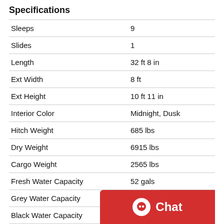Specifications
| Specification | Value |
| --- | --- |
| Sleeps | 9 |
| Slides | 1 |
| Length | 32 ft 8 in |
| Ext Width | 8 ft |
| Ext Height | 10 ft 11 in |
| Interior Color | Midnight, Dusk |
| Hitch Weight | 685 lbs |
| Dry Weight | 6915 lbs |
| Cargo Weight | 2565 lbs |
| Fresh Water Capacity | 52 gals |
| Grey Water Capacity | 39 gals |
| Black Water Capacity | 30 gals |
| Tire Size | ST... |
| Furnace BTU | 30... |
| Number Of Bunks | 4 |